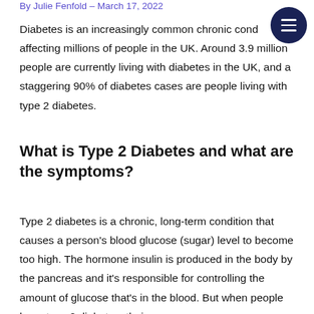By Julie Fenfold – March 17, 2022
Diabetes is an increasingly common chronic condition affecting millions of people in the UK. Around 3.9 million people are currently living with diabetes in the UK, and a staggering 90% of diabetes cases are people living with type 2 diabetes.
What is Type 2 Diabetes and what are the symptoms?
Type 2 diabetes is a chronic, long-term condition that causes a person's blood glucose (sugar) level to become too high. The hormone insulin is produced in the body by the pancreas and it's responsible for controlling the amount of glucose that's in the blood. But when people have type 2 diabetes, their pancreas